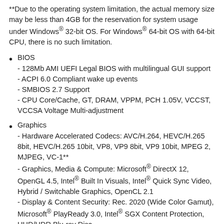**Due to the operating system limitation, the actual memory size may be less than 4GB for the reservation for system usage under Windows® 32-bit OS. For Windows® 64-bit OS with 64-bit CPU, there is no such limitation.
BIOS
- 128Mb AMI UEFI Legal BIOS with multilingual GUI support
- ACPI 6.0 Compliant wake up events
- SMBIOS 2.7 Support
- CPU Core/Cache, GT, DRAM, VPPM, PCH 1.05V, VCCST, VCCSA Voltage Multi-adjustment
Graphics
- Hardware Accelerated Codecs: AVC/H.264, HEVC/H.265 8bit, HEVC/H.265 10bit, VP8, VP9 8bit, VP9 10bit, MPEG 2, MJPEG, VC-1**
- Graphics, Media & Compute: Microsoft® DirectX 12, OpenGL 4.5, Intel® Built In Visuals, Intel® Quick Sync Video, Hybrid / Switchable Graphics, OpenCL 2.1
- Display & Content Security: Rec. 2020 (Wide Color Gamut), Microsoft® PlayReady 3.0, Intel® SGX Content Protection, UHD/HDR Blu-ray Disc
- Three graphics output options: D-Sub, HDMI and DisplayPort 1.4